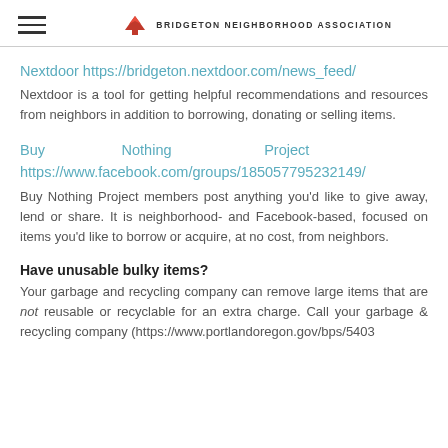BRIDGETON NEIGHBORHOOD ASSOCIATION
Nextdoor https://bridgeton.nextdoor.com/news_feed/ Nextdoor is a tool for getting helpful recommendations and resources from neighbors in addition to borrowing, donating or selling items.
Buy Nothing Project https://www.facebook.com/groups/185057795232149/ Buy Nothing Project members post anything you'd like to give away, lend or share. It is neighborhood- and Facebook-based, focused on items you'd like to borrow or acquire, at no cost, from neighbors.
Have unusable bulky items?
Your garbage and recycling company can remove large items that are not reusable or recyclable for an extra charge. Call your garbage & recycling company (https://www.portlandoregon.gov/bps/5403...